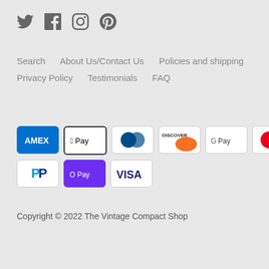[Figure (other): Social media icons: Twitter, Facebook, Instagram, Pinterest]
Search   About Us/Contact Us   Policies and shipping   Privacy Policy   Testimonials   FAQ
[Figure (other): Payment method icons: Amex, Apple Pay, Diners Club, Discover, Google Pay, Maestro, Mastercard, PayPal, OPay, Visa]
Copyright © 2022 The Vintage Compact Shop